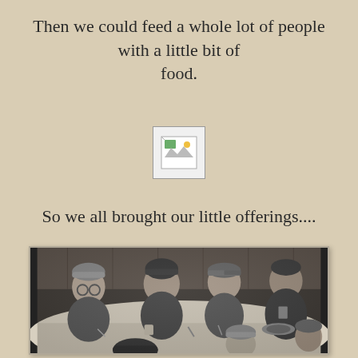Then we could feed a whole lot of people with a little bit of food.
[Figure (photo): Broken/missing image placeholder icon]
So we all brought our little offerings....
[Figure (photo): Black and white photograph of several children sitting around a table, wearing winter hats and coats, appearing to be at a soup kitchen or communal meal setting.]